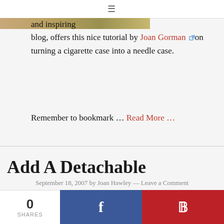≡
and inspiring blog, offers this nice tutorial by Joan Gorman on turning a cigarette case into a needle case.
Remember to bookmark … Read More …
Add A Detachable Shoulder Strap To Your Quilted Tote or Purse
September 18, 2007 by Joan Hawley — Leave a Comment
0 SHARES